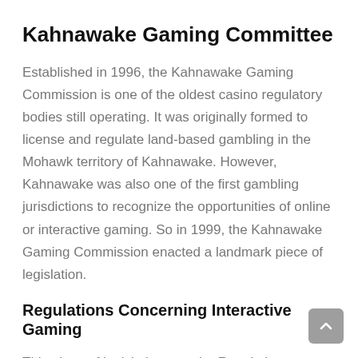Kahnawake Gaming Committee
Established in 1996, the Kahnawake Gaming Commission is one of the oldest casino regulatory bodies still operating. It was originally formed to license and regulate land-based gambling in the Mohawk territory of Kahnawake. However, Kahnawake was also one of the first gambling jurisdictions to recognize the opportunities of online or interactive gaming. So in 1999, the Kahnawake Gaming Commission enacted a landmark piece of legislation.
Regulations Concerning Interactive Gaming
This piece of legislation was the Regulations